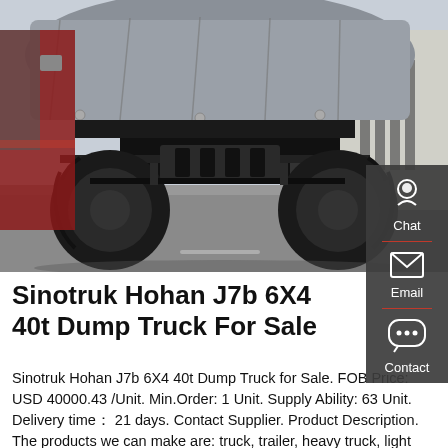[Figure (photo): Underside view of a Sinotruk Hohan J7b 6X4 dump truck, showing the chassis, axles, tires, and cargo bed frame covered with tarpaulin, photographed from ground level.]
Sinotruk Hohan J7b 6X4 40t Dump Truck For Sale
Sinotruk Hohan J7b 6X4 40t Dump Truck for Sale. FOB Price: USD 40000.43 /Unit. Min.Order: 1 Unit. Supply Ability: 63 Unit. Delivery time： 21 days. Contact Supplier. Product Description. The products we can make are: truck, trailer, heavy truck, light truck, truck